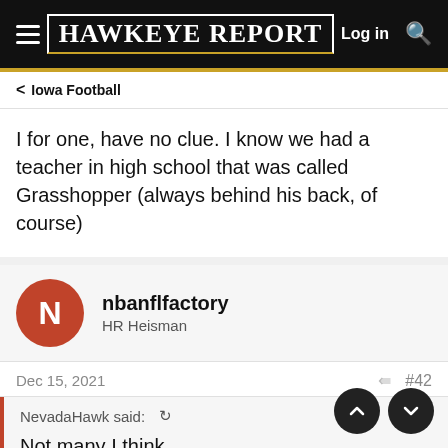Hawkeye Report — Log in
Iowa Football
I for one, have no clue. I know we had a teacher in high school that was called Grasshopper (always behind his back, of course)
nbanflfactory
HR Heisman
Dec 15, 2021  #42
NevadaHawk said:
Not many I think.